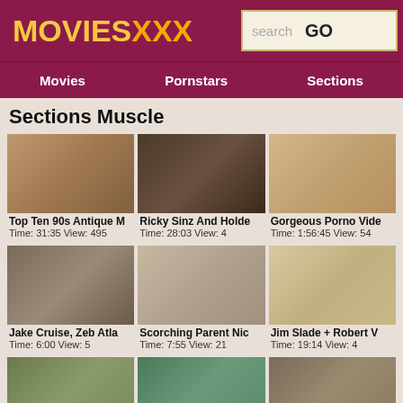MOVIESXXX — search GO — Movies | Pornstars | Sections
Sections Muscle
[Figure (screenshot): Thumbnail 1: Top Ten 90s Antique M]
Top Ten 90s Antique M
Time: 31:35 View: 495
[Figure (screenshot): Thumbnail 2: Ricky Sinz And Holde]
Ricky Sinz And Holde
Time: 28:03 View: 4
[Figure (screenshot): Thumbnail 3: Gorgeous Porno Vide]
Gorgeous Porno Vide
Time: 1:56:45 View: 54
[Figure (screenshot): Thumbnail 4: Jake Cruise, Zeb Atla]
Jake Cruise, Zeb Atla
Time: 6:00 View: 5
[Figure (screenshot): Thumbnail 5: Scorching Parent Nic]
Scorching Parent Nic
Time: 7:55 View: 21
[Figure (screenshot): Thumbnail 6: Jim Slade + Robert V]
Jim Slade + Robert V
Time: 19:14 View: 4